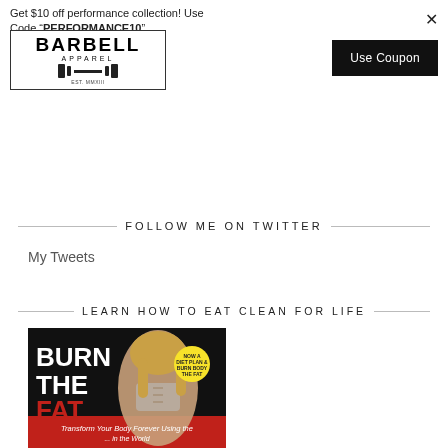Get $10 off performance collection! Use Code "PERFORMANCE10"
[Figure (logo): Barbell Apparel logo in a bordered rectangle]
Use Coupon
FOLLOW ME ON TWITTER
My Tweets
LEARN HOW TO EAT CLEAN FOR LIFE
[Figure (photo): Book cover: BURN THE FAT - Transform Your Body Forever Using the ... - featuring a fit woman on the cover with a yellow badge]